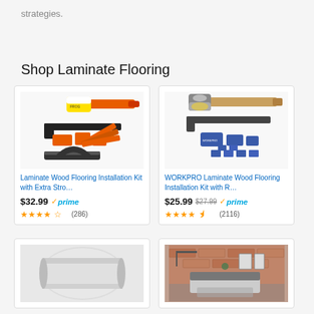strategies.
Shop Laminate Flooring
[Figure (photo): Laminate wood flooring installation kit with orange mallet, pull bar, tapping block, spacers, and contour gauge]
Laminate Wood Flooring Installation Kit with Extra Stro…
$32.99 ✓prime ★★★★☆ (286)
[Figure (photo): WORKPRO Laminate wood flooring installation kit with rubber mallet, pull bar, and blue spacer blocks]
WORKPRO Laminate Wood Flooring Installation Kit with R…
$25.99 $27.99 ✓prime ★★★★½ (2116)
[Figure (photo): Roll of white flooring underlayment material]
[Figure (photo): Bedroom with laminate flooring, brick wall, bed and furniture]